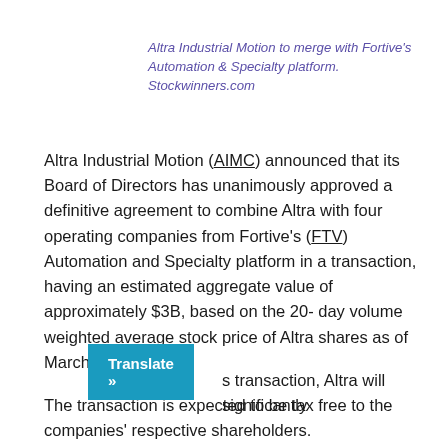Altra Industrial Motion to merge with Fortive's Automation & Specialty platform. Stockwinners.com
Altra Industrial Motion (AIMC) announced that its Board of Directors has unanimously approved a definitive agreement to combine Altra with four operating companies from Fortive's (FTV) Automation and Specialty platform in a transaction, having an estimated aggregate value of approximately $3B, based on the 20-day volume weighted average stock price of Altra shares as of March 6, 2018.
The transaction is expected to be tax free to the companies' respective shareholders.
s transaction, Altra will significantly